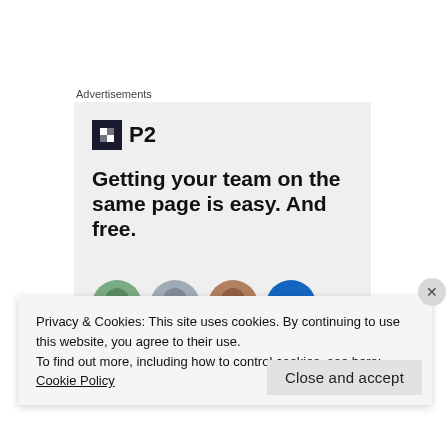Advertisements
[Figure (illustration): P2 advertisement with logo icon and bold headline text reading 'Getting your team on the same page is easy. And free.' with circular avatar photos at the bottom]
Privacy & Cookies: This site uses cookies. By continuing to use this website, you agree to their use.
To find out more, including how to control cookies, see here: Cookie Policy
Close and accept